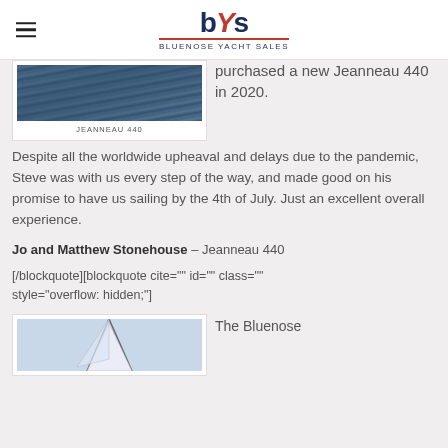bYS Bluenose Yacht Sales
[Figure (photo): Ocean water photo captioned JEANNEAU 440]
JEANNEAU 440
purchased a new Jeanneau 440 in 2020. Despite all the worldwide upheaval and delays due to the pandemic, Steve was with us every step of the way, and made good on his promise to have us sailing by the 4th of July. Just an excellent overall experience.
Jo and Matthew Stonehouse – Jeanneau 440
[/blockquote][blockquote cite="" id="" class="" style="overflow: hidden;"]
[Figure (photo): Sailing boat with mast and sails photo]
The Bluenose